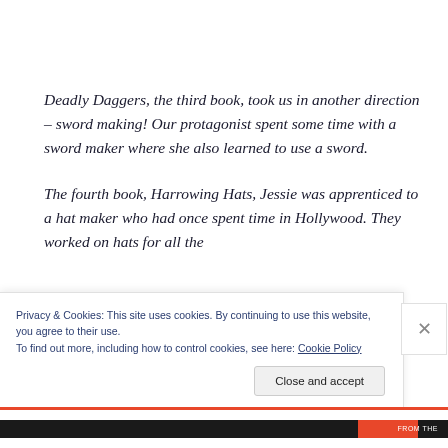Deadly Daggers, the third book, took us in another direction – sword making! Our protagonist spent some time with a sword maker where she also learned to use a sword.
The fourth book, Harrowing Hats, Jessie was apprenticed to a hat maker who had once spent time in Hollywood. They worked on hats for all the
Privacy & Cookies: This site uses cookies. By continuing to use this website, you agree to their use.
To find out more, including how to control cookies, see here: Cookie Policy